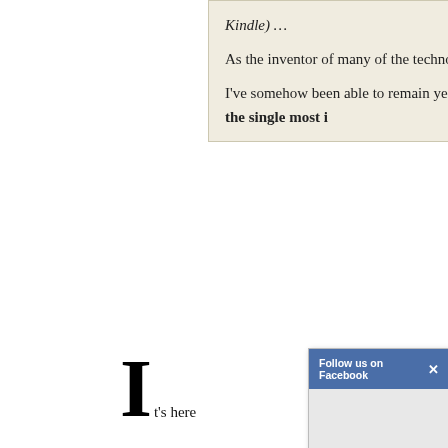Kindle) …
As the inventor of many of the technologies in co
I've somehow been able to remain years (and so about to discover represent the single most i
I t's here
I first called as
Let's not m
That's exac
Did you kno h
The C
Every
Every
[Figure (screenshot): Facebook 'Follow us on Facebook' popup dialog overlay with blue header bar and close (x) button, gray body content area]